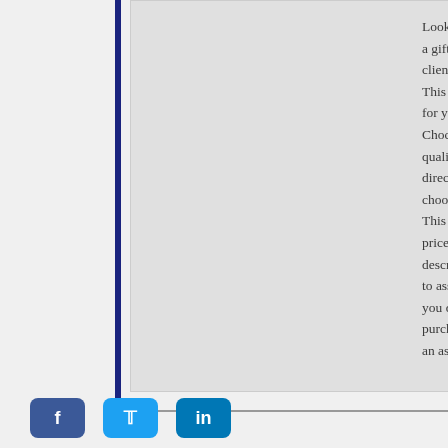[Figure (other): Large gray image placeholder on left side of content area]
Looking for a gift for a colleague or client, but too busy? This site may be for you! No Chocolates offers quality Belgian chocolates direct delivered. You choose your box. This is attractive prices. There are descriptions to assist you. If you do not want to purchase, you can choose an assorted
[Figure (other): Social media buttons: Facebook (blue), Twitter (light blue), LinkedIn (blue)]